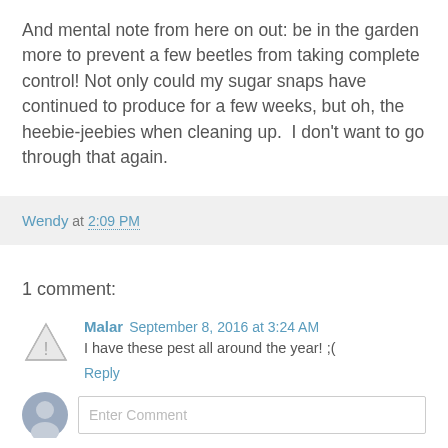And mental note from here on out: be in the garden more to prevent a few beetles from taking complete control! Not only could my sugar snaps have continued to produce for a few weeks, but oh, the heebie-jeebies when cleaning up.  I don't want to go through that again.
Wendy at 2:09 PM
1 comment:
Malar  September 8, 2016 at 3:24 AM
I have these pest all around the year! ;(
Reply
Enter Comment